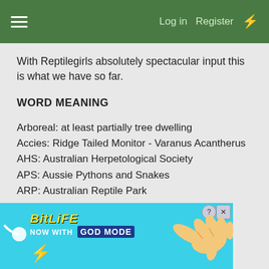≡  Log in  Register  ⚡
With Reptilegirls absolutely spectacular input this is what we have so far.
WORD MEANING
Arboreal: at least partially tree dwelling
Accies: Ridge Tailed Monitor - Varanus Acantherus
AHS: Australian Herpetological Society
APS: Aussie Pythons and Snakes
ARP: Australian Reptile Park
Barbata: Eastern Bearded Dragon - pogona barbata
BC: Breeders Choice - paper kitty litter used as substrate
beardie: bearded dragon
[Figure (screenshot): BitLife advertisement banner - NOW WITH GOD MODE]